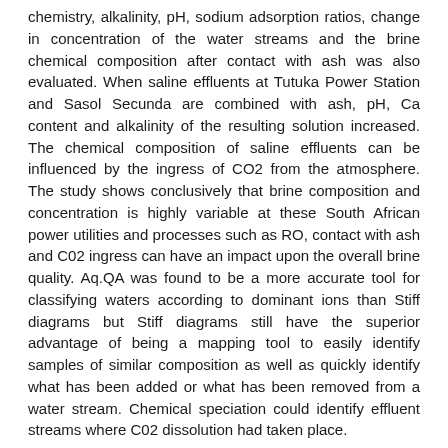chemistry, alkalinity, pH, sodium adsorption ratios, change in concentration of the water streams and the brine chemical composition after contact with ash was also evaluated. When saline effluents at Tutuka Power Station and Sasol Secunda are combined with ash, pH, Ca content and alkalinity of the resulting solution increased. The chemical composition of saline effluents can be influenced by the ingress of CO2 from the atmosphere. The study shows conclusively that brine composition and concentration is highly variable at these South African power utilities and processes such as RO, contact with ash and C02 ingress can have an impact upon the overall brine quality. Aq.QA was found to be a more accurate tool for classifying waters according to dominant ions than Stiff diagrams but Stiff diagrams still have the superior advantage of being a mapping tool to easily identify samples of similar composition as well as quickly identify what has been added or what has been removed from a water stream. Chemical speciation could identify effluent streams where C02 dissolution had taken place.
URI
http://hdl.handle.net/11394/8835
Collections